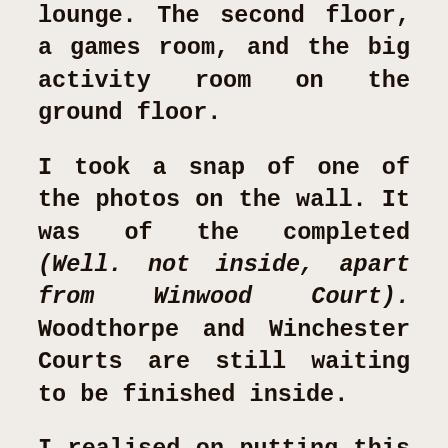lounge. The second floor, a games room, and the big activity room on the ground floor.
I took a snap of one of the photos on the wall. It was of the completed (Well. not inside, apart from Winwood Court). Woodthorpe and Winchester Courts are still waiting to be finished inside.
I realised on putting this picture on the blog, that I had taken it, and caught the big windows in the reflection. Well, I never claimed to be a David Baily. Haha! Bath it daily, maybe! A touch of heterophemy there, sorry about that. I meant Bathe it, my inorthography. I love